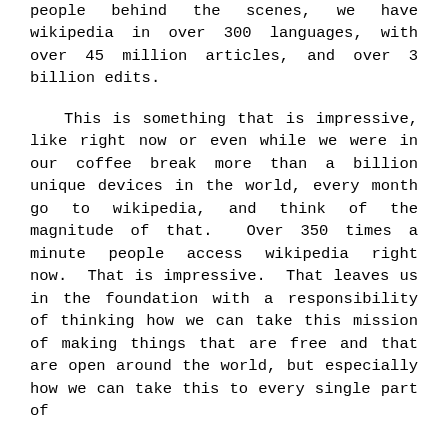people behind the scenes, we have wikipedia in over 300 languages, with over 45 million articles, and over 3 billion edits.
This is something that is impressive, like right now or even while we were in our coffee break more than a billion unique devices in the world, every month go to wikipedia, and think of the magnitude of that. Over 350 times a minute people access wikipedia right now. That is impressive. That leaves us in the foundation with a responsibility of thinking how we can take this mission of making things that are free and that are open around the world, but especially how we can take this to every single part of